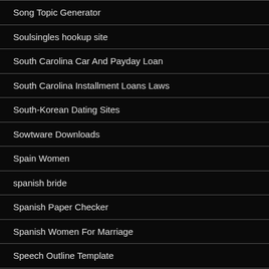Song Topic Generator
Soulsingles hookup site
South Carolina Car And Payday Loan
South Carolina Installment Loans Laws
South-Korean Dating Sites
Sowtware Downloads
Spain Women
spanish bride
Spanish Paper Checker
Spanish Women For Marriage
Speech Outline Template
Speedy Cash Locations